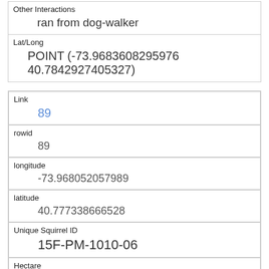| Other Interactions | ran from dog-walker |
| Lat/Long | POINT (-73.9683608295976 40.7842927405327) |
| Link | 89 |
| rowid | 89 |
| longitude | -73.968052057989 |
| latitude | 40.777338666528 |
| Unique Squirrel ID | 15F-PM-1010-06 |
| Hectare | 15F |
| Shift | PM |
| Date | 10102018 |